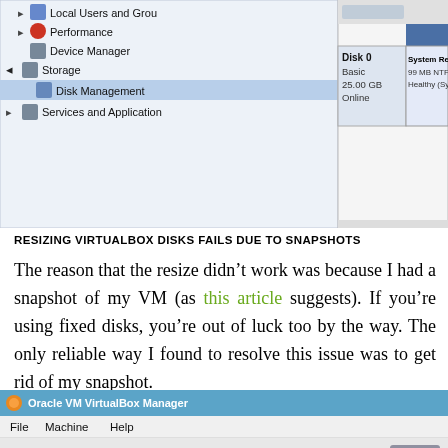[Figure (screenshot): Windows Disk Management screenshot showing Disk 0 (Basic, 25.00 GB, Online) with System Reserved partition (99 MB NTFS, Healthy (Syste...)) and C: partition (24.90 GB NTFS, Healthy (Boot, Page File, Crash Dur...))]
RESIZING VIRTUALBOX DISKS FAILS DUE TO SNAPSHOTS
The reason that the resize didn't work was because I had a snapshot of my VM (as this article suggests). If you're using fixed disks, you're out of luck too by the way. The only reliable way I found to resolve this issue was to get rid of my snapshot.
[Figure (screenshot): Oracle VM VirtualBox Manager window showing File, Machine, Help menu bar and toolbar icons]